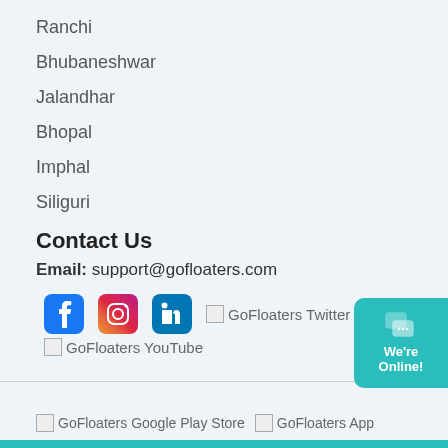Ranchi
Bhubaneshwar
Jalandhar
Bhopal
Imphal
Siliguri
Contact Us
Email: support@gofloaters.com
[Figure (other): Social media icons: Facebook, Instagram, LinkedIn, GoFloaters Twitter, GoFloaters YouTube]
GoFloaters Google Play Store | GoFloaters App